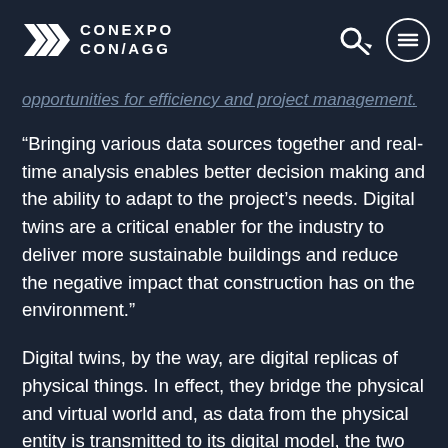CONEXPO CON/AGG
opportunities for efficiency and project management.
“Bringing various data sources together and real-time analysis enables better decision making and the ability to adapt to the project’s needs. Digital twins are a critical enabler for the industry to deliver more sustainable buildings and reduce the negative impact that construction has on the environment.”
Digital twins, by the way, are digital replicas of physical things. In effect, they bridge the physical and virtual world and, as data from the physical entity is transmitted to its digital model, the two effectively co-exist as twins. In this way, engineers can test real-world scenarios on the ‘twin’, assessing its efficiency, resistance to damage, and so on.
Coming back to VR and AR, the uptake of the...